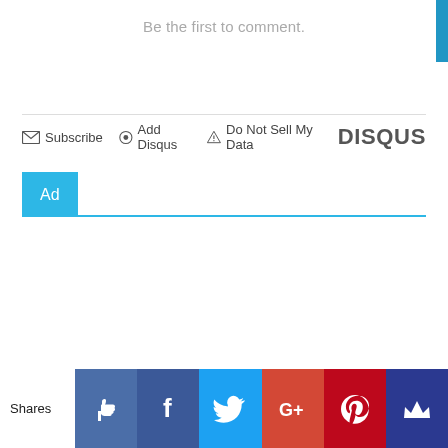Be the first to comment.
Subscribe   Add Disqus   Do Not Sell My Data   DISQUS
Ad
Shares